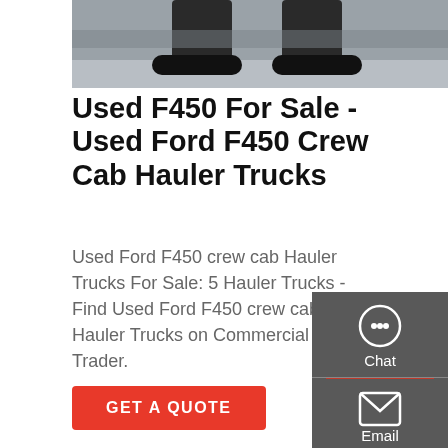[Figure (photo): Partial view of a truck's undercarriage/wheels from above, gray pavement visible]
Used F450 For Sale - Used Ford F450 Crew Cab Hauler Trucks
Used Ford F450 crew cab Hauler Trucks For Sale: 5 Hauler Trucks - Find Used Ford F450 crew cab Hauler Trucks on Commercial Truck Trader.
GET A QUOTE
[Figure (photo): Close-up of truck undercarriage, suspension, exhaust and large truck tire]